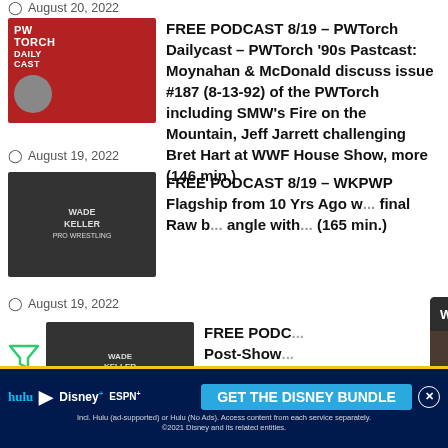August 20, 2022
FREE PODCAST 8/19 – PWTorch Dailycast – PWTorch '90s Pastcast: Moynahan & McDonald discuss issue #187 (8-13-92) of the PWTorch including SMW's Fire on the Mountain, Jeff Jarrett challenging Bret Hart at WWF House Show, more (146 min.)
August 19, 2022
FREE PODCAST 8/19 – WKPWP Flagship from 10 Yrs Ago w... final Raw b... angle with... (165 min.)
August 19, 2022
FREE PODC... Post-Show... Cena-Jind... ...hane
[Figure (screenshot): WWE posts BIG Q2 financials video popup overlay with PWTORCH branding and man wearing baseball cap]
[Figure (infographic): GET THE DISNEY BUNDLE advertisement with hulu, Disney+, ESPN+ logos]